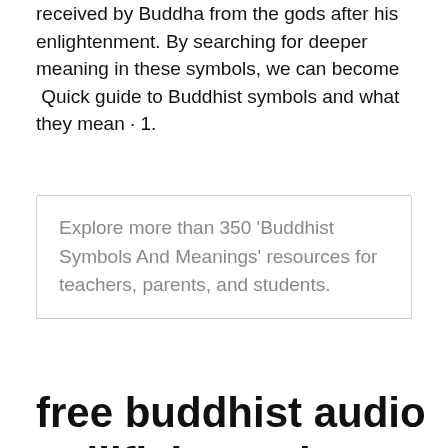received by Buddha from the gods after his enlightenment. By searching for deeper meaning in these symbols, we can become  Quick guide to Buddhist symbols and what they mean · 1.
Explore more than 350 'Buddhist Symbols And Meanings' resources for teachers, parents, and students.
free buddhist audio : Tillflyktstr&auml;det - Hur M&aring;ring
The Buddha made use of symbols when he taught